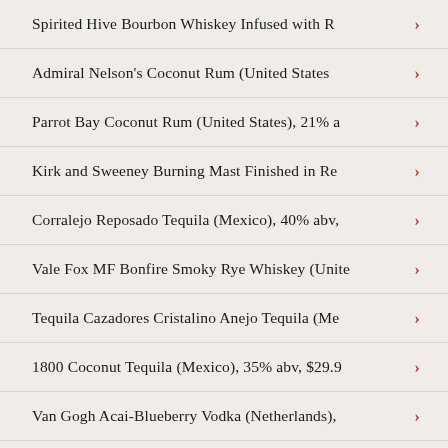Spirited Hive Bourbon Whiskey Infused with R…
Admiral Nelson's Coconut Rum (United States…
Parrot Bay Coconut Rum (United States), 21% a…
Kirk and Sweeney Burning Mast Finished in Re…
Corralejo Reposado Tequila (Mexico), 40% abv,…
Vale Fox MF Bonfire Smoky Rye Whiskey (Unite…
Tequila Cazadores Cristalino Anejo Tequila (Me…
1800 Coconut Tequila (Mexico), 35% abv, $29.9…
Van Gogh Acai-Blueberry Vodka (Netherlands),…